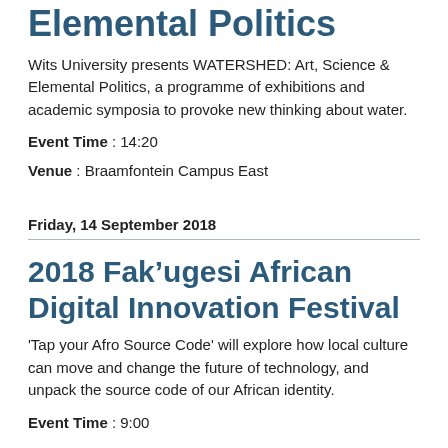Elemental Politics
Wits University presents WATERSHED: Art, Science & Elemental Politics, a programme of exhibitions and academic symposia to provoke new thinking about water.
Event Time : 14:20
Venue : Braamfontein Campus East
Friday, 14 September 2018
2018 Fak’ugesi African Digital Innovation Festival
'Tap your Afro Source Code' will explore how local culture can move and change the future of technology, and unpack the source code of our African identity.
Event Time : 9:00